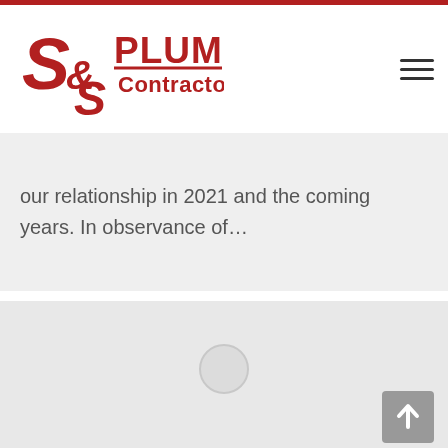S&S Plumbing Contractors
our relationship in 2021 and the coming years. In observance of…
[Figure (photo): Large light gray placeholder image area with a circular loading indicator in the center, and a back-to-top arrow button in the bottom right corner]